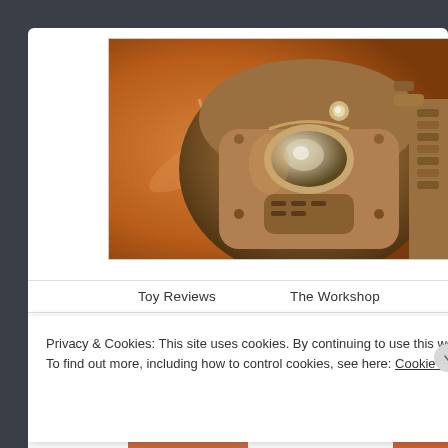[Figure (photo): Close-up photo of a mechanical/robotic helmet or power armor helmet with metallic orange/bronze tones, resembling Fallout power armor. The image is cropped showing details of the helmet face and mechanical components.]
Toy Reviews    The Workshop    Events and
Privacy & Cookies: This site uses cookies. By continuing to use this website, you agree to their use.
To find out more, including how to control cookies, see here: Cookie Policy
Close and accept
Advertisements